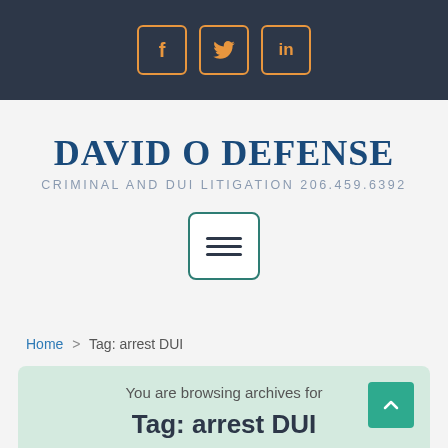[Figure (other): Dark header bar with Facebook, Twitter, and LinkedIn social media icons in orange rounded square borders]
DAVID O DEFENSE
CRIMINAL AND DUI LITIGATION 206.459.6392
[Figure (other): Hamburger menu button with three horizontal lines, white background with teal border]
Home > Tag: arrest DUI
You are browsing archives for
Tag: arrest DUI